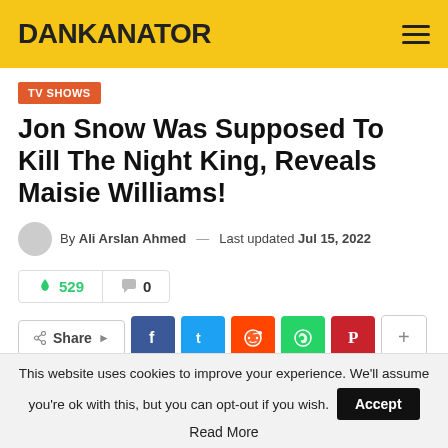DANKANATOR
TV SHOWS
Jon Snow Was Supposed To Kill The Night King, Reveals Maisie Williams!
By Ali Arslan Ahmed — Last updated Jul 15, 2022
🔥 529  💬 0
Share  f  t  reddit  whatsapp  pinterest  +
This website uses cookies to improve your experience. We'll assume you're ok with this, but you can opt-out if you wish. Accept
Read More